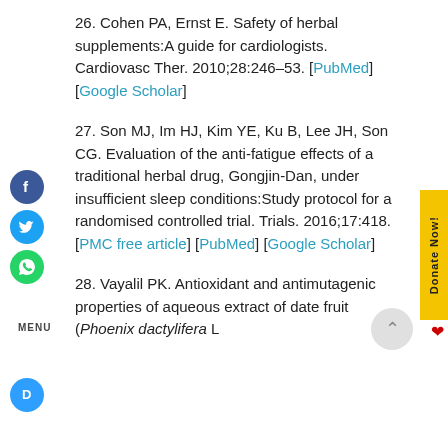26. Cohen PA, Ernst E. Safety of herbal supplements:A guide for cardiologists. Cardiovasc Ther. 2010;28:246–53. [PubMed] [Google Scholar]
27. Son MJ, Im HJ, Kim YE, Ku B, Lee JH, Son CG. Evaluation of the anti-fatigue effects of a traditional herbal drug, Gongjin-Dan, under insufficient sleep conditions:Study protocol for a randomised controlled trial. Trials. 2016;17:418. [PMC free article] [PubMed] [Google Scholar]
28. Vayalil PK. Antioxidant and antimutagenic properties of aqueous extract of date fruit (Phoenix dactylifera L